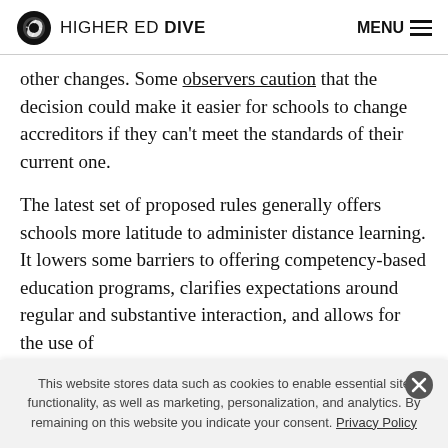HIGHER ED DIVE  MENU
other changes. Some observers caution that the decision could make it easier for schools to change accreditors if they can't meet the standards of their current one.
The latest set of proposed rules generally offers schools more latitude to administer distance learning. It lowers some barriers to offering competency-based education programs, clarifies expectations around regular and substantive interaction, and allows for the use of
This website stores data such as cookies to enable essential site functionality, as well as marketing, personalization, and analytics. By remaining on this website you indicate your consent. Privacy Policy